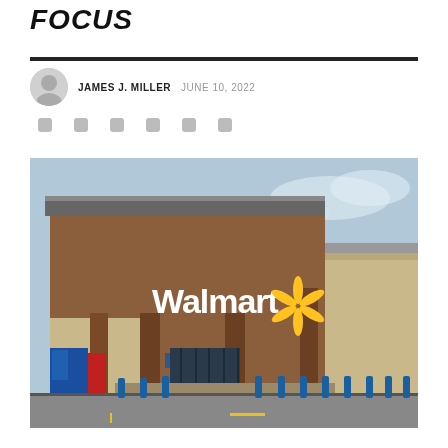FOCUS
JAMES J. MILLER   JUNE 10, 2022
[Figure (photo): Exterior photograph of a Walmart store showing the brown stucco facade with the Walmart logo and spark symbol, blue bollards in front, and a parking lot in the foreground.]